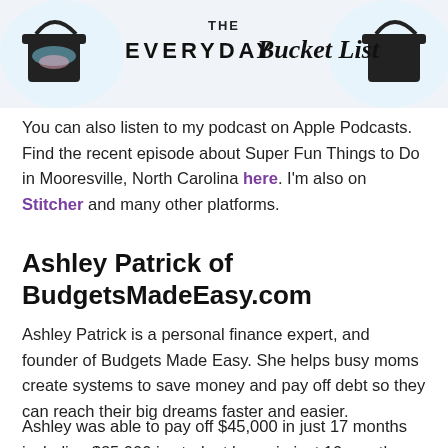[Figure (logo): The Everyday Bucket List podcast logo banner with colorful illustrated buckets on sides and script/sans-serif title text in the center on a light background.]
You can also listen to my podcast on Apple Podcasts. Find the recent episode about Super Fun Things to Do in Mooresville, North Carolina here. I'm also on Stitcher and many other platforms.
Ashley Patrick of BudgetsMadeEasy.com
Ashley Patrick is a personal finance expert, and founder of Budgets Made Easy. She helps busy moms create systems to save money and pay off debt so they can reach their big dreams faster and easier.
Ashley was able to pay off $45,000 in just 17 months including $25,000 in student loans in just 10 months...